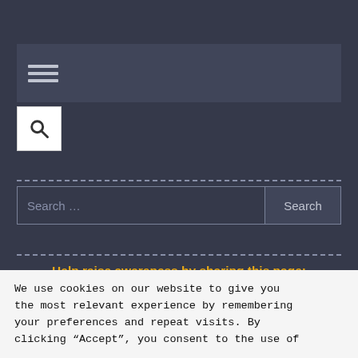[Figure (screenshot): Navigation bar with hamburger menu icon (three horizontal lines) on dark background]
[Figure (screenshot): Search icon button (magnifying glass) in white square]
[Figure (infographic): Dashed horizontal separator line]
[Figure (screenshot): Search input field with placeholder 'Search ...' and Search button]
[Figure (infographic): Dashed horizontal separator line]
Help raise awareness by sharing this page:
[Figure (infographic): Social media share icons: Facebook, Twitter, LinkedIn, WhatsApp, Reddit, Telegram, More]
Categories: Latest Cyber News
We use cookies on our website to give you the most relevant experience by remembering your preferences and repeat visits. By clicking “Accept”, you consent to the use of